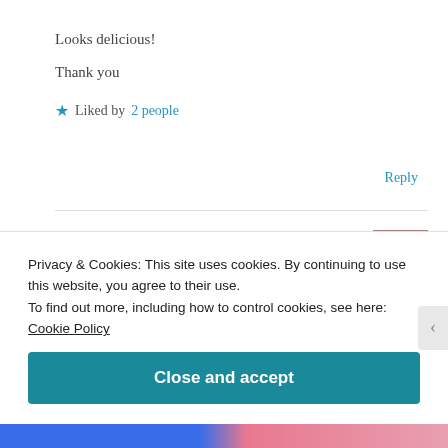Looks delicious!
Thank you
★ Liked by 2 people
Reply
libarah
December 1, 2018 at 7:28 pm
Privacy & Cookies: This site uses cookies. By continuing to use this website, you agree to their use. To find out more, including how to control cookies, see here: Cookie Policy
Close and accept